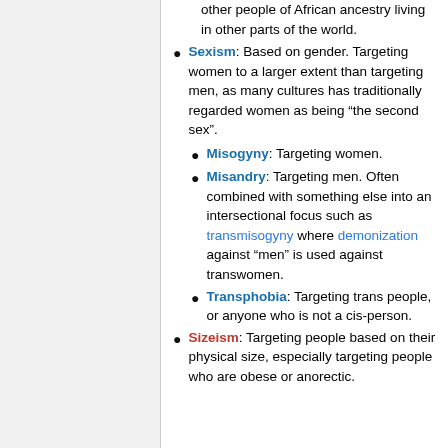other people of African ancestry living in other parts of the world.
Sexism: Based on gender. Targeting women to a larger extent than targeting men, as many cultures has traditionally regarded women as being “the second sex”.
Misogyny: Targeting women.
Misandry: Targeting men. Often combined with something else into an intersectional focus such as transmisogyny where demonization against “men” is used against transwomen.
Transphobia: Targeting trans people, or anyone who is not a cis-person.
Sizeism: Targeting people based on their physical size, especially targeting people who are obese or anorectic.